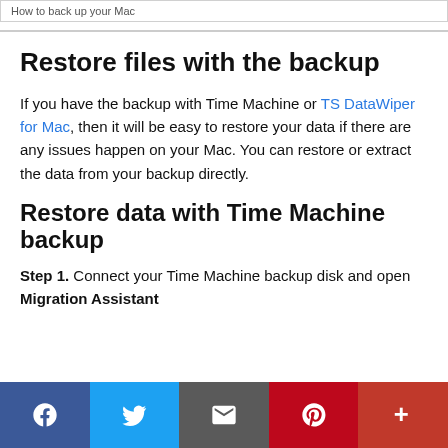How to back up your Mac
Restore files with the backup
If you have the backup with Time Machine or TS DataWiper for Mac, then it will be easy to restore your data if there are any issues happen on your Mac. You can restore or extract the data from your backup directly.
Restore data with Time Machine backup
Step 1. Connect your Time Machine backup disk and open Migration Assistant